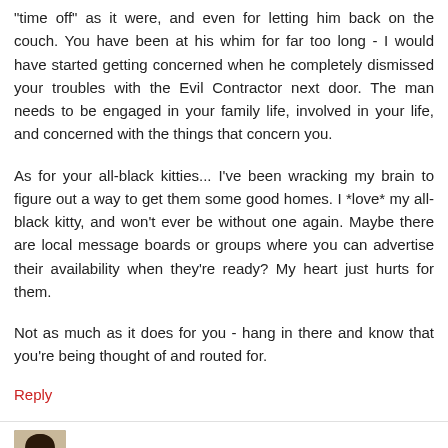"time off" as it were, and even for letting him back on the couch. You have been at his whim for far too long - I would have started getting concerned when he completely dismissed your troubles with the Evil Contractor next door. The man needs to be engaged in your family life, involved in your life, and concerned with the things that concern you.
As for your all-black kitties... I've been wracking my brain to figure out a way to get them some good homes. I *love* my all-black kitty, and won't ever be without one again. Maybe there are local message boards or groups where you can advertise their availability when they're ready? My heart just hurts for them.
Not as much as it does for you - hang in there and know that you're being thought of and routed for.
Reply
hughman 6:29 PM
JM, i don't get the black kitty thing either. when i lived in